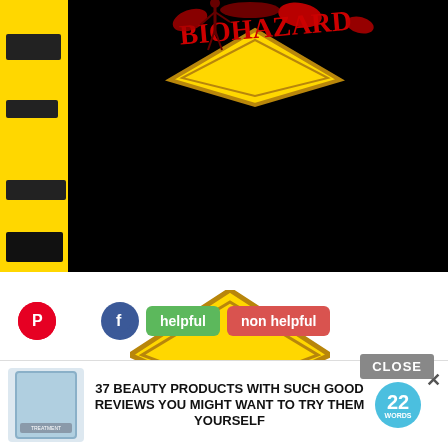[Figure (screenshot): Top portion showing a dark/black background with a yellow sidebar on the left containing blurred menu items, and a red/yellow graphic at the top center showing a warning sign with red text/figures above it on a black background.]
[Figure (illustration): Yellow and black diamond warning/hazard sign partially visible in the center-bottom area, with 'DEAD END' text beginning to appear at the very bottom.]
[Figure (screenshot): Social sharing buttons row: Pinterest red circle icon, Facebook blue circle icon, green 'helpful' button, red 'non helpful' button.]
[Figure (infographic): Advertisement banner: product image on left, bold text '37 BEAUTY PRODUCTS WITH SUCH GOOD REVIEWS YOU MIGHT WANT TO TRY THEM YOURSELF', teal '22 words' badge, close X button. Gray CLOSE button above right side.]